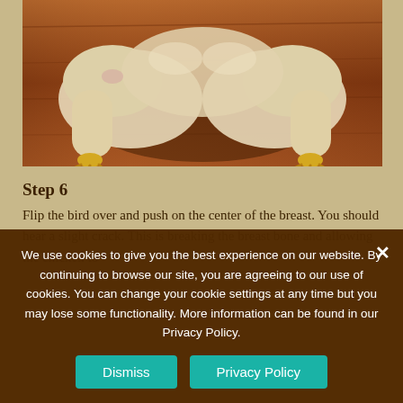[Figure (photo): Raw chicken legs/quarters laid flat on a wooden cutting board, skin-side down, viewed from above. The chicken appears pale/cream colored against the warm brown wood surface.]
Step 6
Flip the bird over and push on the center of the breast. You should hear a slight crack. This is breaking the breast bone and allowing the chicken to
We use cookies to give you the best experience on our website. By continuing to browse our site, you are agreeing to our use of cookies. You can change your cookie settings at any time but you may lose some functionality. More information can be found in our Privacy Policy.
Dismiss
Privacy Policy